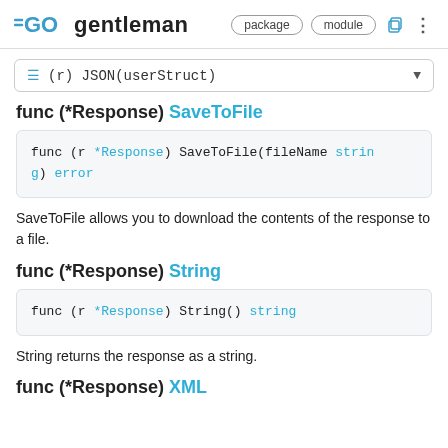GO gentleman package module
≡ (r) JSON(userStruct) ▼
func (*Response) SaveToFile
SaveToFile allows you to download the contents of the response to a file.
func (*Response) String
String returns the response as a string.
func (*Response) XML